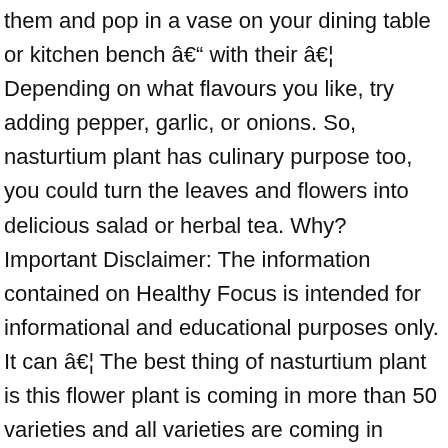them and pop in a vase on your dining table or kitchen bench â with their â¦ Depending on what flavours you like, try adding pepper, garlic, or onions. So, nasturtium plant has culinary purpose too, you could turn the leaves and flowers into delicious salad or herbal tea. Why? Important Disclaimer: The information contained on Healthy Focus is intended for informational and educational purposes only. It can â¦ The best thing of nasturtium plant is this flower plant is coming in more than 50 varieties and all varieties are coming in beautiful and bright color. 7 Health Benefits of Nasturtium Leaves (#Holy For Beauty), Pass quality checked by advisor, read our quality control guidelance for more info, 18 Health Benefits of Blackberry Leaves (No.5 is Amazing), 24 Health Benefits of Moringa Seed Oil (No.1 is Super), 10 Secret Benefits of Qasil Somali for Skin Care Treatment, 10 Super Health Benefits of Kakawate Leaves, 11 Scientific Health Benefits of American Ginseng Extract, 5 Amazing Health Benefits of Cedarwood Essential Oil, What Are The Hidden Health Benefits of Tamanu Oil? The plant is rich in nutrients including vitamin c and